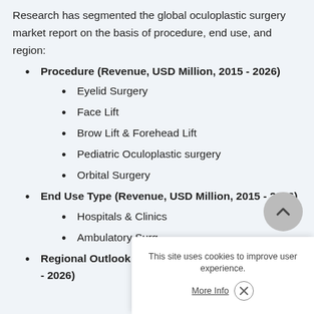Research has segmented the global oculoplastic surgery market report on the basis of procedure, end use, and region:
Procedure (Revenue, USD Million, 2015 - 2026)
Eyelid Surgery
Face Lift
Brow Lift & Forehead Lift
Pediatric Oculoplastic surgery
Orbital Surgery
End Use Type (Revenue, USD Million, 2015 - 2026)
Hospitals & Clinics
Ambulatory Surg...
Regional Outlook (R... - 2026)